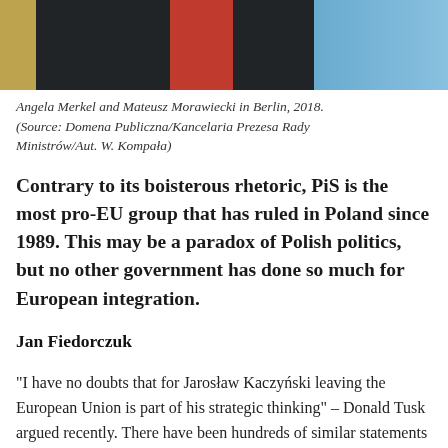[Figure (photo): Photo of Angela Merkel and Mateusz Morawiecki in Berlin, 2018, with colorful background flags]
Angela Merkel and Mateusz Morawiecki in Berlin, 2018. (Source: Domena Publiczna/Kancelaria Prezesa Rady Ministrów/Aut. W. Kompała)
Contrary to its boisterous rhetoric, PiS is the most pro-EU group that has ruled in Poland since 1989. This may be a paradox of Polish politics, but no other government has done so much for European integration.
Jan Fiedorczuk
“I have no doubts that for Jarosław Kaczyński leaving the European Union is part of his strategic thinking” – Donald Tusk argued recently. There have been hundreds of similar statements on the part of the